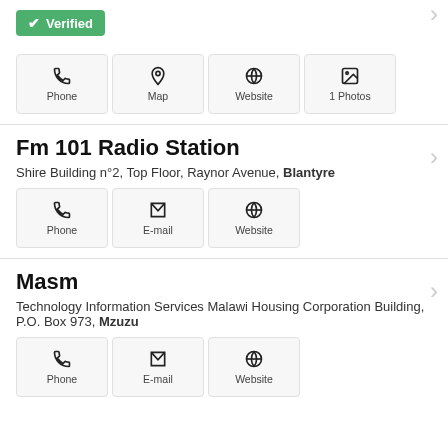[Figure (screenshot): Verified badge with green background and checkmark]
Phone | Map | Website | Photos (1) — action buttons for first listing
Fm 101 Radio Station
Shire Building n°2, Top Floor, Raynor Avenue, Blantyre
Phone | E-mail | Website — action buttons for Fm 101
Masm
Technology Information Services Malawi Housing Corporation Building, P.O. Box 973, Mzuzu
Phone | E-mail | Website — action buttons for Masm